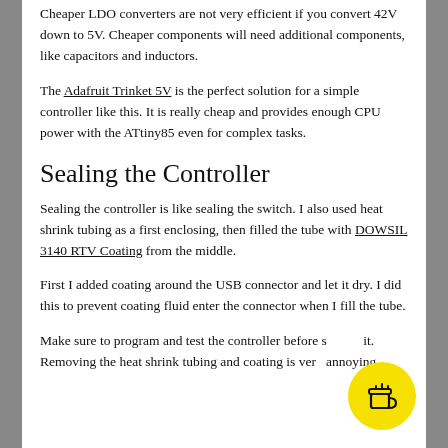Cheaper LDO converters are not very efficient if you convert 42V down to 5V. Cheaper components will need additional components, like capacitors and inductors.
The Adafruit Trinket 5V is the perfect solution for a simple controller like this. It is really cheap and provides enough CPU power with the ATtiny85 even for complex tasks.
Sealing the Controller
Sealing the controller is like sealing the switch. I also used heat shrink tubing as a first enclosing, then filled the tube with DOWSIL 3140 RTV Coating from the middle.
First I added coating around the USB connector and let it dry. I did this to prevent coating fluid enter the connector when I fill the tube.
Make sure to program and test the controller before sealing it. Removing the heat shrink tubing and coating is very annoying.